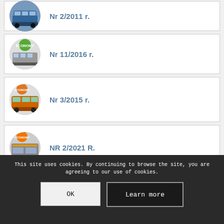Nr 2/2011 r.
Nr 11/2016 r.
Nr 3/2015 r.
NR 2/2021 R.
This site uses cookies. By continuing to browse the site, you are agreeing to our use of cookies.
OK
Learn more